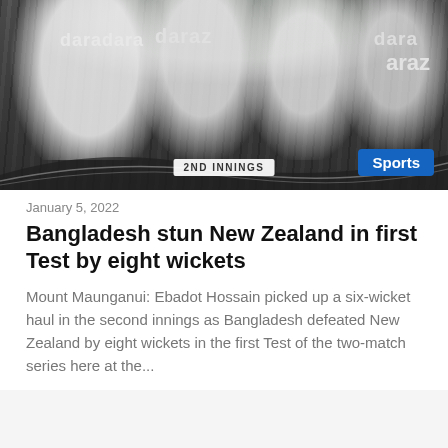[Figure (photo): Cricket players in white uniforms with Daraz branding; text overlay '2ND INNINGS' and 'Sports' badge in blue]
January 5, 2022
Bangladesh stun New Zealand in first Test by eight wickets
Mount Maunganui: Ebadot Hossain picked up a six-wicket haul in the second innings as Bangladesh defeated New Zealand by eight wickets in the first Test of the two-match series here at the...